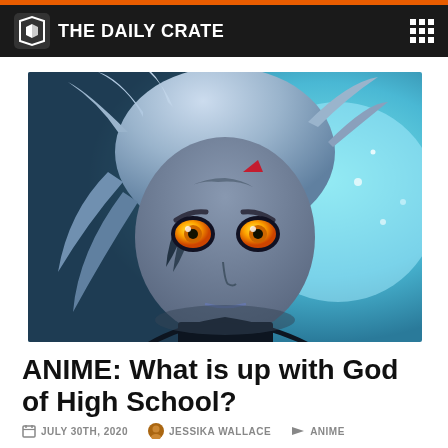THE DAILY CRATE
[Figure (illustration): Close-up anime character with silver-blue hair and glowing orange eyes, dark skin markings, against blue background — from God of High School]
ANIME: What is up with God of High School?
JULY 30TH, 2020   JESSIKA WALLACE   ANIME